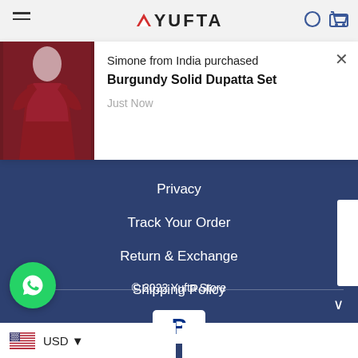YUFTA
[Figure (screenshot): Notification popup: Simone from India purchased Burgundy Solid Dupatta Set – Just Now, with product image of a burgundy dress on left.]
Simone from India purchased
Burgundy Solid Dupatta Set
Just Now
Privacy
Track Your Order
Return & Exchange
Shipping Policy
[Figure (logo): PayPal logo – white rounded rectangle with blue P symbol]
[Figure (logo): WhatsApp icon – green circle with white phone/chat logo]
© 2022 Yufta Store
USD ▼